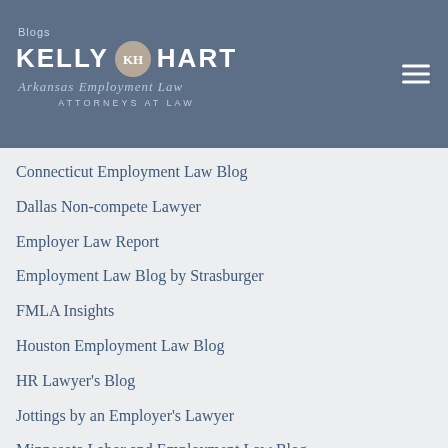Kelly Hart Arkansas Employment Law — Attorneys at Law
Connecticut Employment Law Blog
Dallas Non-compete Lawyer
Employer Law Report
Employment Law Blog by Strasburger
FMLA Insights
Houston Employment Law Blog
HR Lawyer's Blog
Jottings by an Employer's Lawyer
Minnesota Labor and Employment Law Blog
Ohio Employer's Law Blog